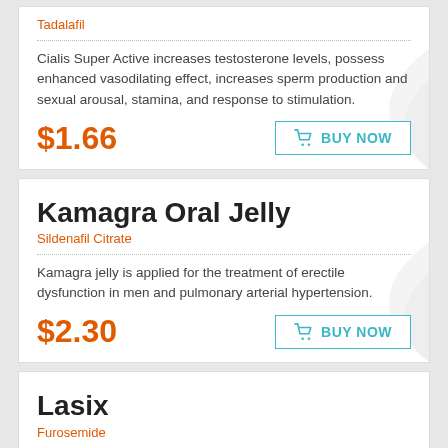Tadalafil
Cialis Super Active increases testosterone levels, possess enhanced vasodilating effect, increases sperm production and sexual arousal, stamina, and response to stimulation.
$1.66
BUY NOW
Kamagra Oral Jelly
Sildenafil Citrate
Kamagra jelly is applied for the treatment of erectile dysfunction in men and pulmonary arterial hypertension.
$2.30
BUY NOW
Lasix
Furosemide
Lasix belongs to a class of diuretics, it is prescribed in patients with